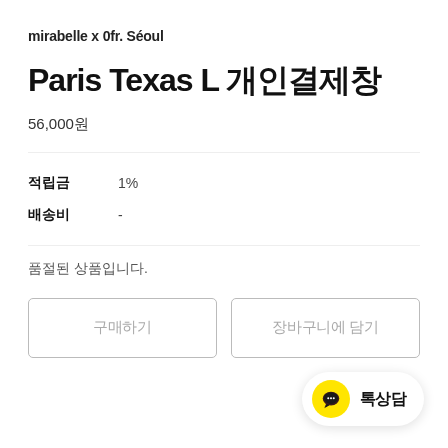mirabelle x 0fr. Séoul
Paris Texas L 개인결제창
56,000원
|  |  |
| --- | --- |
| 적립금 | 1% |
| 배송비 | - |
품절된 상품입니다.
구매하기
장바구니에 담기
[Figure (illustration): Yellow circular chat icon with speech bubble, labeled 톡상담 (KakaoTalk consultation button)]